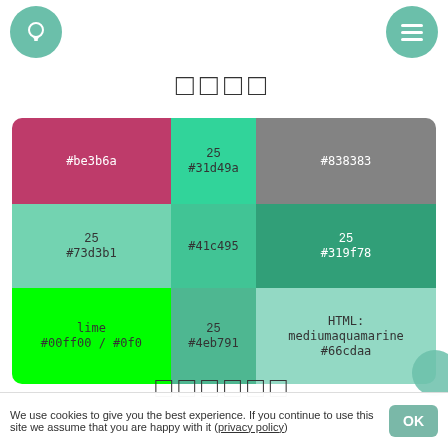[Figure (other): Light bulb icon in teal circle, top left]
[Figure (other): Hamburger menu icon in teal circle, top right]
□□□□
| #be3b6a | 25
#31d49a | #838383 |
| 25
#73d3b1 | #41c495 | 25
#319f78 |
| lime
#00ff00 / #0f0 | 25
#4eb791 | HTML:
mediumaquamarine
#66cdaa |
□□□□□□
We use cookies to give you the best experience. If you continue to use this site we assume that you are happy with it (privacy policy)